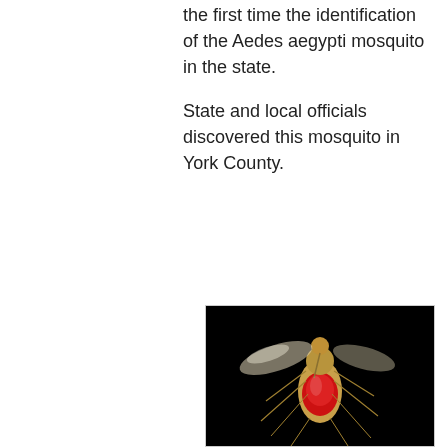the first time the identification of the Aedes aegypti mosquito in the state.
State and local officials discovered this mosquito in York County.
[Figure (photo): Close-up macro photograph of an Aedes aegypti mosquito on a black background, showing its body filled with blood (red abdomen), wings spread, and long legs visible in detail.]